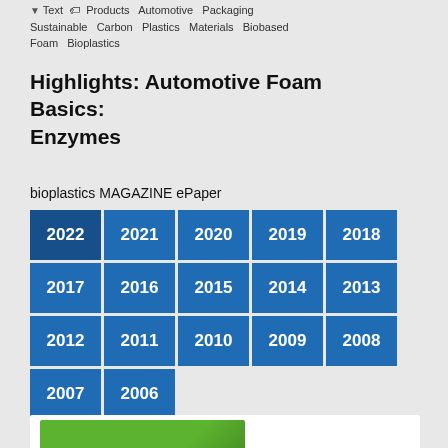Text  Products  Automotive  Packaging  Sustainable  Carbon  Plastics  Materials  Biobased  Foam  Bioplastics
Highlights: Automotive Foam Basics: Enzymes
bioplastics MAGAZINE ePaper
| 2022 | 2021 | 2020 | 2019 | 2018 |
| 2017 | 2016 | 2015 | 2014 | 2013 |
| 2012 | 2011 | 2010 | 2009 | 2008 |
| 2007 | 2006 |  |  |  |
[Figure (photo): Partial view of bioplastics MAGAZINE ePaper cover showing a green background with 'Basics' text and a person visible at the bottom]